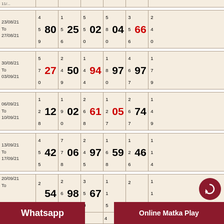| Date | Col1 | Num1 | Col2 | Num2 | Col3 | Num3 | Col4 | Num4 | Col5 | Num5 | Col6 |
| --- | --- | --- | --- | --- | --- | --- | --- | --- | --- | --- | --- |
| 23/08/21 To 27/08/21 | 4 5 9 | 80 | 1 5 6 | 25 | 5 4 9 | 02 | 5 8 0 | 04 | 2 5 6 | 66 | 2 4 0 |
| 30/08/21 To 03/09/21 | 5 7 0 | 27 | 2 4 9 | 50 | 1 4 4 | 94 | 1 6 7 | 97 | 3 4 7 | 97 | 1 7 9 |
| 06/09/21 To 10/09/21 | 1 2 8 | 12 | 1 9 0 | 02 | 2 4 5 | 61 | 4 7 0 | 05 | 2 6 7 | 74 | 1 4 9 |
| 13/09/21 To 17/09/21 | 4 5 5 | 42 | 2 3 5 | 06 | 1 3 5 | 97 | 3 6 8 | 59 | 1 2 6 | 46 | 1 1 4 |
| 20/09/21 To 24/09/21 | 2 ... | 54 | 1 8 0 | 98 | 1 1 4 | 67 | 1 1 5 | ... | 1 1 8 | ... | 3 ... |